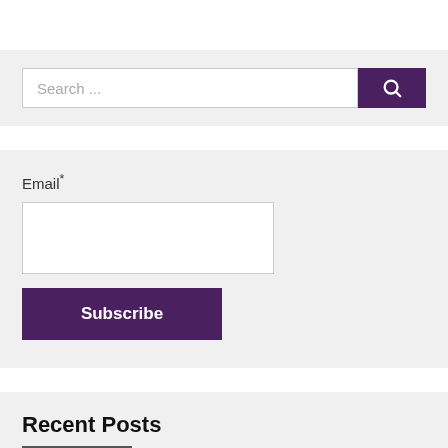[Figure (screenshot): Search bar with text 'Search ...' and a purple search button with magnifier icon]
Email*
[Figure (screenshot): Email input field (white rectangle)]
Subscribe
Recent Posts
Birth Centenary Celebration of Nirmal Singh Nahar
Dr. R. Y. Deshpande awarded the 'Auro Ratna Award' for